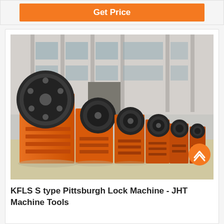Get Price
[Figure (photo): Row of orange industrial jaw crusher machines lined up outdoors in front of a factory building]
KFLS S type Pittsburgh Lock Machine - JHT Machine Tools